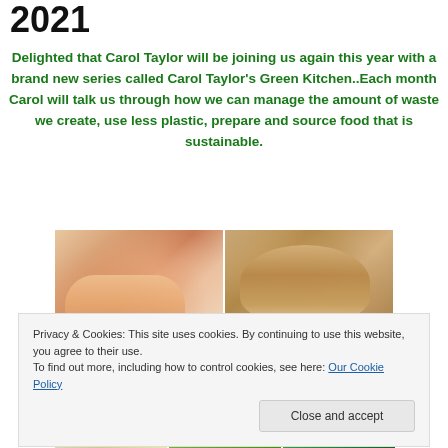2021
Delighted that Carol Taylor will be joining us again this year with a brand new series called Carol Taylor’s Green Kitchen..Each month Carol will talk us through how we can manage the amount of waste we create, use less plastic, prepare and source food that is sustainable.
[Figure (photo): Two photos side by side: left shows hands preparing food on a cutting board with vegetables; right shows a loaf of rustic bread on a wooden surface]
Privacy & Cookies: This site uses cookies. By continuing to use this website, you agree to their use.
To find out more, including how to control cookies, see here: Our Cookie Policy
[Figure (photo): Partial view of food photos at the bottom of the page]